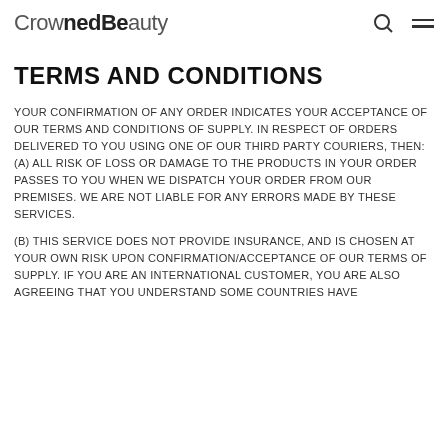CrownedBeauty
TERMS AND CONDITIONS
YOUR CONFIRMATION OF ANY ORDER INDICATES YOUR ACCEPTANCE OF OUR TERMS AND CONDITIONS OF SUPPLY. IN RESPECT OF ORDERS DELIVERED TO YOU USING ONE OF OUR THIRD PARTY COURIERS, THEN: (A) ALL RISK OF LOSS OR DAMAGE TO THE PRODUCTS IN YOUR ORDER PASSES TO YOU WHEN WE DISPATCH YOUR ORDER FROM OUR PREMISES. WE ARE NOT LIABLE FOR ANY ERRORS MADE BY THESE SERVICES.
(B) THIS SERVICE DOES NOT PROVIDE INSURANCE, AND IS CHOSEN AT YOUR OWN RISK UPON CONFIRMATION/ACCEPTANCE OF OUR TERMS OF SUPPLY. IF YOU ARE AN INTERNATIONAL CUSTOMER, YOU ARE ALSO AGREEING THAT YOU UNDERSTAND SOME COUNTRIES HAVE